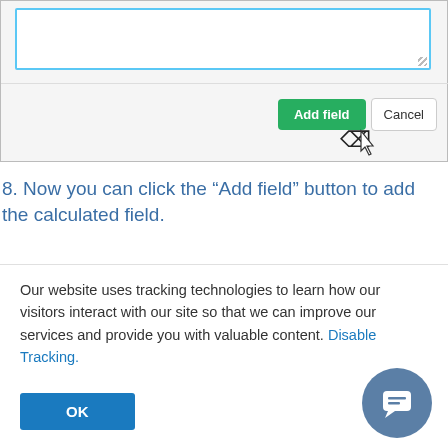[Figure (screenshot): Screenshot of a web form showing a textarea with blue border, an 'Add field' green button, and a 'Cancel' button with a pointer cursor hovering over the Add field button]
8. Now you can click the “Add field” button to add the calculated field.
Our website uses tracking technologies to learn how our visitors interact with our site so that we can improve our services and provide you with valuable content. Disable Tracking.
OK